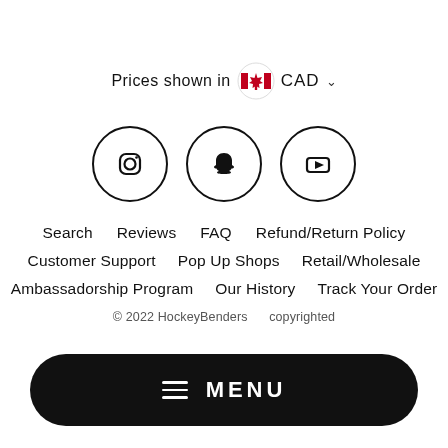Prices shown in CAD
[Figure (illustration): Three social media icon circles: Instagram, Snapchat, YouTube]
Search
Reviews
FAQ
Refund/Return Policy
Customer Support
Pop Up Shops
Retail/Wholesale
Ambassadorship Program
Our History
Track Your Order
© 2022 HockeyBenders    copyrighted
[Figure (other): Black pill-shaped MENU button with hamburger icon]